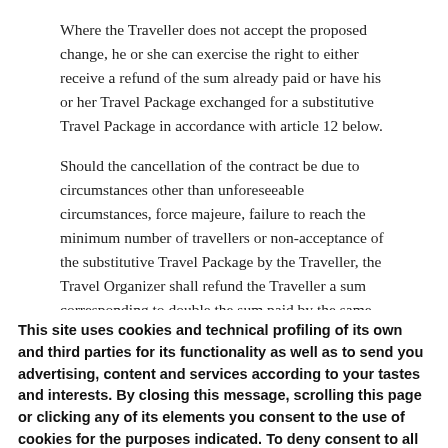Where the Traveller does not accept the proposed change, he or she can exercise the right to either receive a refund of the sum already paid or have his or her Travel Package exchanged for a substitutive Travel Package in accordance with article 12 below.
Should the cancellation of the contract be due to circumstances other than unforeseeable circumstances, force majeure, failure to reach the minimum number of travellers or non-acceptance of the substitutive Travel Package by the Traveller, the Travel Organizer shall refund the Traveller a sum corresponding to double the sum paid by the same Traveller and/or received by the Travel
This site uses cookies and technical profiling of its own and third parties for its functionality as well as to send you advertising, content and services according to your tastes and interests. By closing this message, scrolling this page or clicking any of its elements you consent to the use of cookies for the purposes indicated. To deny consent to all or some cookies, or to learn more click here.    I accept